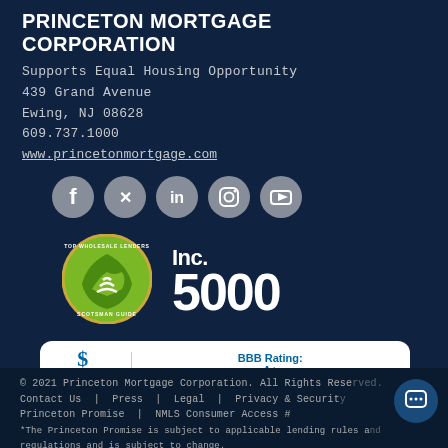PRINCETON MORTGAGE CORPORATION
Supports Equal Housing Opportunity
439 Grand Avenue
Ewing, NJ 08628
609.737.1000
www.princetonmortgage.com
[Figure (infographic): Social media icons row: Facebook, Twitter, LinkedIn, Instagram, YouTube — all in grey circular buttons]
[Figure (logo): Scotsman Guide Top Wholesale Lenders badge (green circular logo)]
[Figure (logo): Inc. 5000 logo in large white bold text]
[Figure (infographic): BBB Accredited Business widget — BBB Rating: A+ As of 8/31/2022, Click for Profile. White rounded rectangle with scroll-up button.]
© 2021 Princeton Mortgage Corporation. All Rights Reserved.
Contact Us | Press | Legal | Privacy & Security
Princeton Promise | NMLS Consumer Access #
*The Princeton Promise is subject to applicable lending rules and regulations and is subject to change.